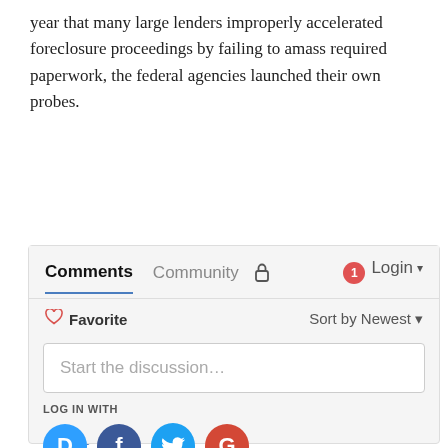year that many large lenders improperly accelerated foreclosure proceedings by failing to amass required paperwork, the federal agencies launched their own probes.
READ MORE: Huffington Post
[Figure (screenshot): Disqus comments widget with tabs: Comments (active, underlined in blue), Community, a lock icon, a red notification badge showing 1, and Login with dropdown arrow. Below: Favorite with heart icon on the left and Sort by Newest on the right. A text input field says 'Start the discussion…'. Below that: LOG IN WITH label. Four social login icons: D (Disqus, blue), F (Facebook, dark blue), bird (Twitter, light blue), G (Google, red). OR SIGN UP WITH DISQUS with question mark circle. A Name input field.]